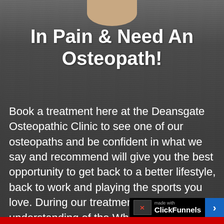[Figure (photo): Person's neck and shoulder visible at top center, dark wood-textured background]
In Pain & Need An Osteopath!
Book a treatment here at the Deansgate Osteopathic Clinic to see one of our osteopaths and be confident in what we say and recommend will give you the best opportunity to get back to a better lifestyle, back to work and playing the sports you love. During our treatment you will gain an understanding of the What, Why, & How to get rid of your pain